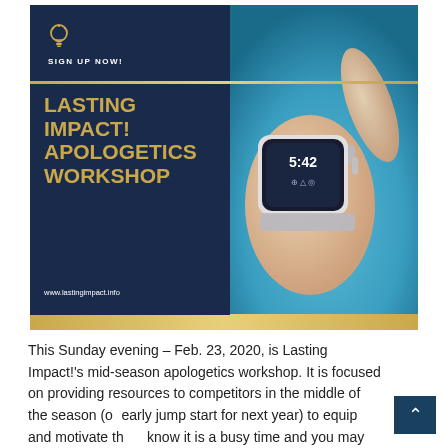[Figure (illustration): Promotional banner for Lasting Impact! Apologetics Workshop. Left half is a dark navy panel with a lightbulb icon, 'SIGN UP NOW!' text, gold horizontal line, large gold bold text reading 'LASTING IMPACT! APOLOGETICS WORKSHOP', and website URL 'www.lastingimpact.info'. Right half shows a photo of a hand wearing a smartwatch displaying 5:42, with a blue background.]
This Sunday evening – Feb. 23, 2020, is Lasting Impact!'s mid-season apologetics workshop. It is focused on providing resources to competitors in the middle of the season (or early jump start for next year) to equip and motivate the… know it is a busy time and you may see a workshop as another